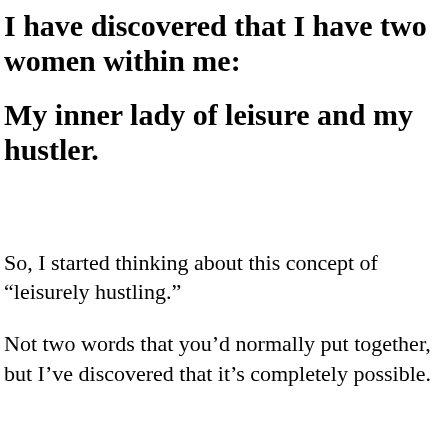I have discovered that I have two women within me:
My inner lady of leisure and my hustler.
So, I started thinking about this concept of “leisurely hustling.”
Not two words that you’d normally put together, but I’ve discovered that it’s completely possible.